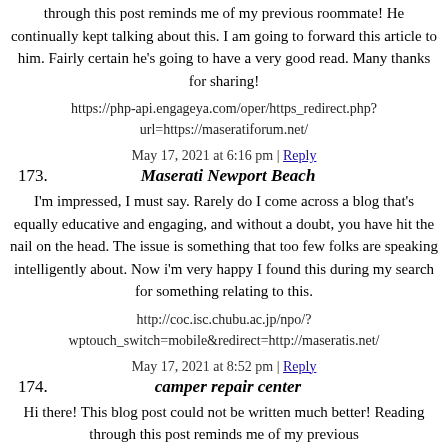through this post reminds me of my previous roommate! He continually kept talking about this. I am going to forward this article to him. Fairly certain he's going to have a very good read. Many thanks for sharing!
https://php-api.engageya.com/oper/https_redirect.php?url=https://maseratiforum.net/
May 17, 2021 at 6:16 pm | Reply
173. Maserati Newport Beach
I'm impressed, I must say. Rarely do I come across a blog that's equally educative and engaging, and without a doubt, you have hit the nail on the head. The issue is something that too few folks are speaking intelligently about. Now i'm very happy I found this during my search for something relating to this.
http://coc.isc.chubu.ac.jp/npo/?wptouch_switch=mobile&redirect=http://maseratis.net/
May 17, 2021 at 8:52 pm | Reply
174. camper repair center
Hi there! This blog post could not be written much better! Reading through this post reminds me of my previous